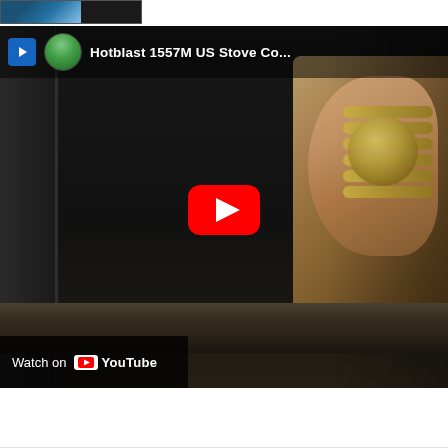[Figure (screenshot): A YouTube video embed/thumbnail showing a Hotblast 1557M US Stove video. The video frame shows a dark stove interior with a hand holding what appears to be a key or fitting on the right side. The video has a YouTube play button in the center, channel avatar, title 'Hotblast 1557M US Stove Co...' at the top, and a 'Watch on YouTube' bar at the bottom left.]